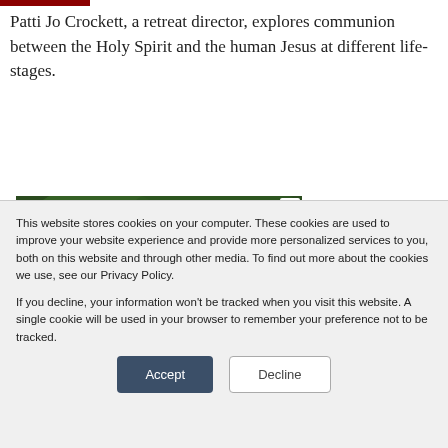Patti Jo Crockett, a retreat director, explores communion between the Holy Spirit and the human Jesus at different life-stages.
[Figure (photo): Advertisement banner showing a man in a wide-brimmed hat outdoors with green foliage, with text overlay reading 'Become an Eternal Guardian of your faith']
This website stores cookies on your computer. These cookies are used to improve your website experience and provide more personalized services to you, both on this website and through other media. To find out more about the cookies we use, see our Privacy Policy.

If you decline, your information won't be tracked when you visit this website. A single cookie will be used in your browser to remember your preference not to be tracked.